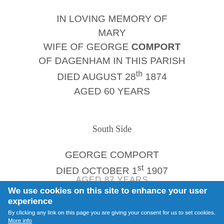IN LOVING MEMORY OF
MARY
WIFE OF GEORGE COMPORT
OF DAGENHAM IN THIS PARISH
DIED AUGUST 28th 1874
AGED 60 YEARS
South Side
GEORGE COMPORT
DIED OCTOBER 1st 1907
AGED 87 YEARS
We use cookies on this site to enhance your user experience
By clicking any link on this page you are giving your consent for us to set cookies. More info
OK, I agree    No, thanks